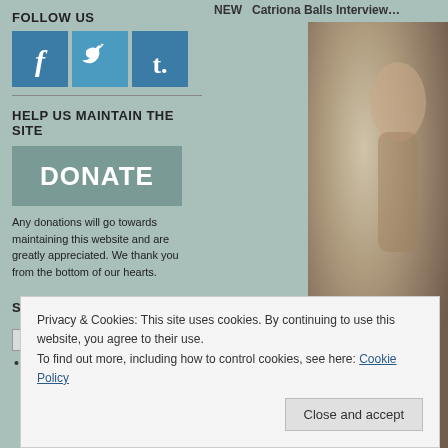FOLLOW US
[Figure (infographic): Three social media icons: Facebook (f), Twitter (bird), Tumblr (t.) on teal/blue square backgrounds]
HELP US MAINTAIN THE SITE
[Figure (other): DONATE button — grey-green rectangle with white bold text]
Any donations will go towards maintaining this website and are greatly appreciated. We thank you from the bottom of our hearts.
SEARCH
[Figure (photo): Partially visible blurred photo on right side — person with raised hand against light background]
Privacy & Cookies: This site uses cookies. By continuing to use this website, you agree to their use.
To find out more, including how to control cookies, see here: Cookie Policy
Close and accept